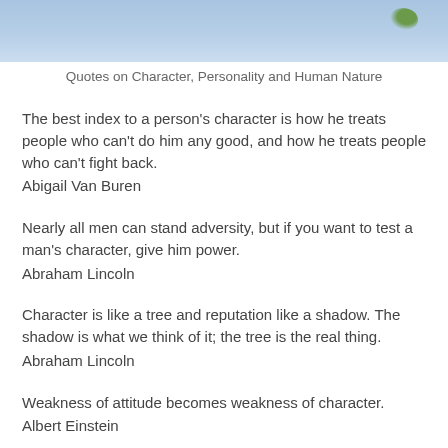[Figure (photo): Top portion of a nature photo showing a light blue sky with a branch and leaves visible at the top right corner]
Quotes on Character, Personality and Human Nature
The best index to a person's character is how he treats people who can't do him any good, and how he treats people who can't fight back.
Abigail Van Buren
Nearly all men can stand adversity, but if you want to test a man's character, give him power.
Abraham Lincoln
Character is like a tree and reputation like a shadow. The shadow is what we think of it; the tree is the real thing.
Abraham Lincoln
Weakness of attitude becomes weakness of character.
Albert Einstein